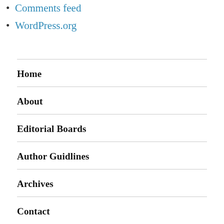Comments feed
WordPress.org
Home
About
Editorial Boards
Author Guidlines
Archives
Contact
Publication Ethics